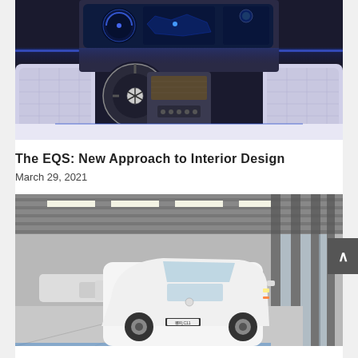[Figure (photo): Mercedes-Benz EQS car interior showing steering wheel with Mercedes star logo, large panoramic curved display screen (Hyperscreen), white leather seats, and blue ambient lighting]
The EQS: New Approach to Interior Design
March 29, 2021
[Figure (photo): White electric cars lined up in a modern factory production line with industrial ceiling structure, bright lights and glass walls visible]